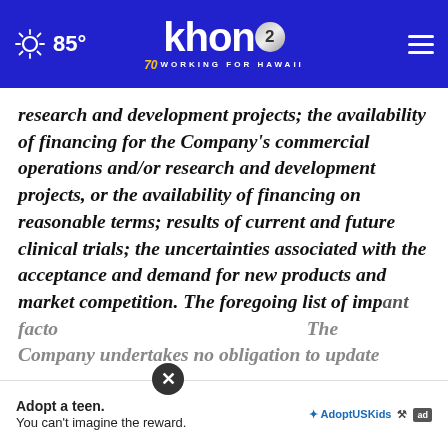KHON2 — Working for Hawaii | 85°
research and development projects; the availability of financing for the Company's commercial operations and/or research and development projects, or the availability of financing on reasonable terms; results of current and future clinical trials; the uncertainties associated with the acceptance and demand for new products and market competition. The foregoing list of important facto... The Company undertakes no obligation to update
[Figure (screenshot): Ad overlay: 'Adopt a teen. You can't imagine the reward.' — Adopt US Kids advertisement with close button]